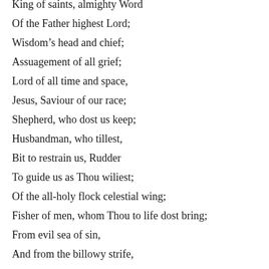King of saints, almighty Word
Of the Father highest Lord;
Wisdom's head and chief;
Assuagement of all grief;
Lord of all time and space,
Jesus, Saviour of our race;
Shepherd, who dost us keep;
Husbandman, who tillest,
Bit to restrain us, Rudder
To guide us as Thou wiliest;
Of the all-holy flock celestial wing;
Fisher of men, whom Thou to life dost bring;
From evil sea of sin,
And from the billowy strife,